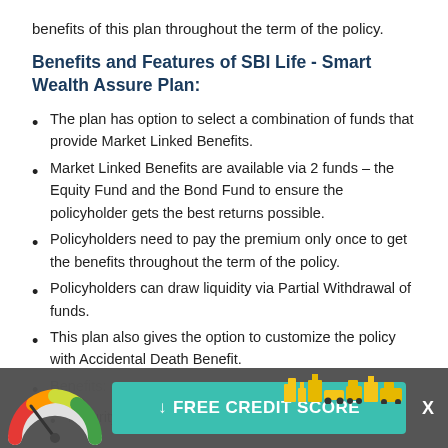benefits of this plan throughout the term of the policy.
Benefits and Features of SBI Life - Smart Wealth Assure Plan:
The plan has option to select a combination of funds that provide Market Linked Benefits.
Market Linked Benefits are available via 2 funds – the Equity Fund and the Bond Fund to ensure the policyholder gets the best returns possible.
Policyholders need to pay the premium only once to get the benefits throughout the term of the policy.
Policyholders can draw liquidity via Partial Withdrawal of funds.
This plan also gives the option to customize the policy with Accidental Death Benefit.
Ben...
Maturity Benefit: The Fund Value is paid on completion